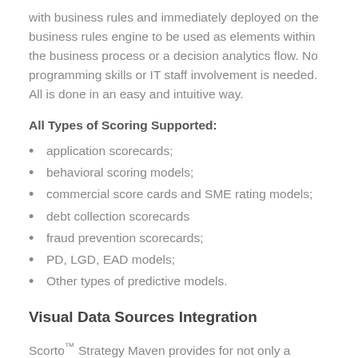with business rules and immediately deployed on the business rules engine to be used as elements within the business process or a decision analytics flow. No programming skills or IT staff involvement is needed. All is done in an easy and intuitive way.
All Types of Scoring Supported:
application scorecards;
behavioral scoring models;
commercial score cards and SME rating models;
debt collection scorecards
fraud prevention scorecards;
PD, LGD, EAD models;
Other types of predictive models.
Visual Data Sources Integration
Scorto™ Strategy Maven provides for not only a business rules software, but data management tools, and also...